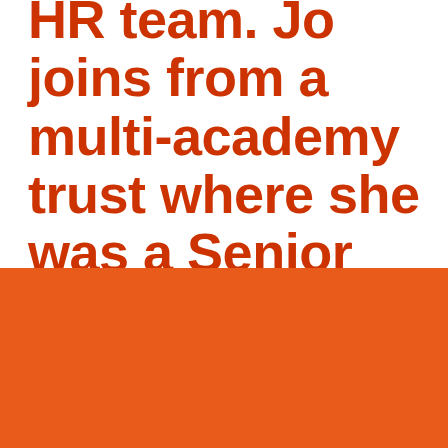HR team. Jo joins from a multi-academy trust where she was a Senior HR Advisor, with responsibility across five secondary
We use cookies on our website to give you the most relevant experience by remembering your preferences and repeat visits. By clicking “Accept”, you consent to the use of ALL the cookies.
You may also opt in/out of individual cookies by using the settings option.